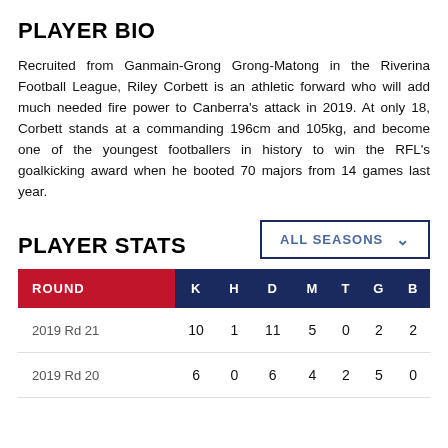PLAYER BIO
Recruited from Ganmain-Grong Grong-Matong in the Riverina Football League, Riley Corbett is an athletic forward who will add much needed fire power to Canberra's attack in 2019. At only 18, Corbett stands at a commanding 196cm and 105kg, and become one of the youngest footballers in history to win the RFL's goalkicking award when he booted 70 majors from 14 games last year.
PLAYER STATS
| ROUND | K | H | D | M | T | G | B |
| --- | --- | --- | --- | --- | --- | --- | --- |
| 2019 Rd 21 | 10 | 1 | 11 | 5 | 0 | 2 | 2 |
| 2019 Rd 20 | 6 | 0 | 6 | 4 | 2 | 5 | 0 |